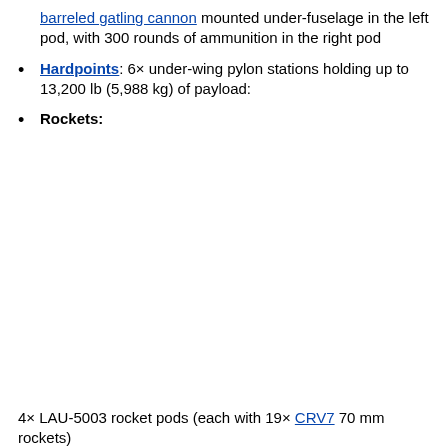barreled gatling cannon mounted under-fuselage in the left pod, with 300 rounds of ammunition in the right pod
Hardpoints: 6× under-wing pylon stations holding up to 13,200 lb (5,988 kg) of payload:
Rockets:
4× LAU-5003 rocket pods (each with 19× CRV7 70 mm rockets)